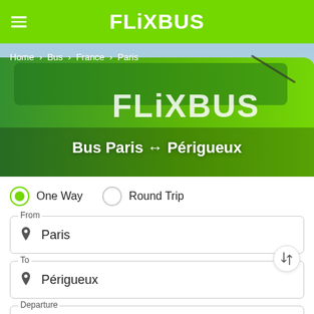FLIXBUS
[Figure (screenshot): Hero photo of a green FlixBus coach with FLIXBUS logo on the side, photographed from a low angle.]
Home > Bus > France > Paris
Bus Paris ↔ Périgueux
One Way   Round Trip
From
Paris
To
Périgueux
Departure
Tue, 23 Aug
Passengers/Bikes